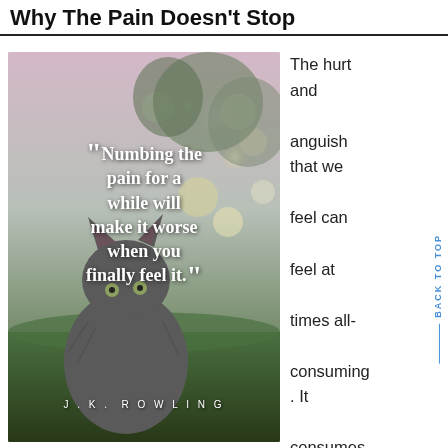Why The Pain Doesn't Stop
[Figure (photo): A gray cat photographed from behind against a bokeh background of trees and light, with an overlaid J.K. Rowling quote in white serif text: "Numbing the pain for a while will make it worse when you finally feel it." with attribution J.K. Rowling at the bottom.]
The hurt and anguish that we feel can feel at times all-consuming. It consumes our every waking hour, minute,